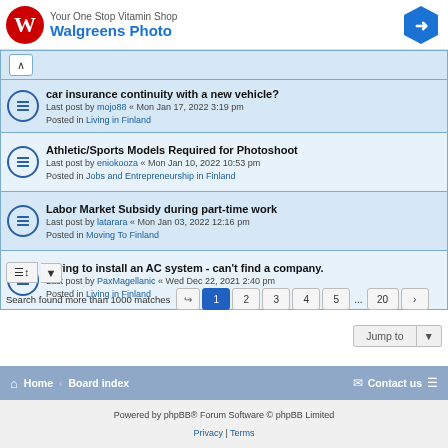[Figure (other): Walgreens advertisement banner with red W logo and blue hexagon icon, text: Your One Stop Vitamin Shop / Walgreens Photo]
car insurance continuity with a new vehicle?
Last post by mojo88 « Mon Jan 17, 2022 3:19 pm
Posted in Living in Finland
Athletic/Sports Models Required for Photoshoot
Last post by eniokooza « Mon Jan 10, 2022 10:53 pm
Posted in Jobs and Entrepreneurship in Finland
Labor Market Subsidy during part-time work
Last post by latarara « Mon Jan 03, 2022 12:16 pm
Posted in Moving To Finland
Trying to install an AC system - can't find a company.
Last post by PaxMagellanic « Wed Dec 22, 2021 2:40 pm
Posted in Living in Finland
Search found more than 1000 matches
Pagination: 1 2 3 4 5 ... 20
Jump to
Home · Board index | Contact us
Powered by phpBB® Forum Software © phpBB Limited
Privacy | Terms